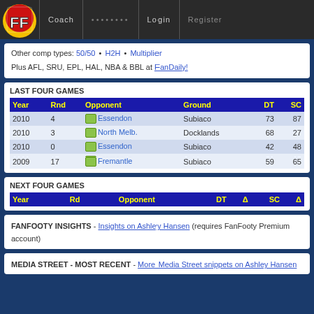FF Coach ••••••••  Login  Register
Other comp types: 50/50 • H2H • Multiplier
Plus AFL, SRU, EPL, HAL, NBA & BBL at FanDaily!
LAST FOUR GAMES
| Year | Rnd | Opponent | Ground | DT | SC |
| --- | --- | --- | --- | --- | --- |
| 2010 | 4 | [news] Essendon | Subiaco | 73 | 87 |
| 2010 | 3 | [spud] North Melb. | Docklands | 68 | 27 |
| 2010 | 0 | [news] Essendon | Subiaco | 42 | 48 |
| 2009 | 17 | [spud] Fremantle | Subiaco | 59 | 65 |
NEXT FOUR GAMES
| Year | Rd | Opponent | DT | Δ | SC | Δ |
| --- | --- | --- | --- | --- | --- | --- |
FANFOOTY INSIGHTS - Insights on Ashley Hansen (requires FanFooty Premium account)
MEDIA STREET - MOST RECENT - More Media Street snippets on Ashley Hansen